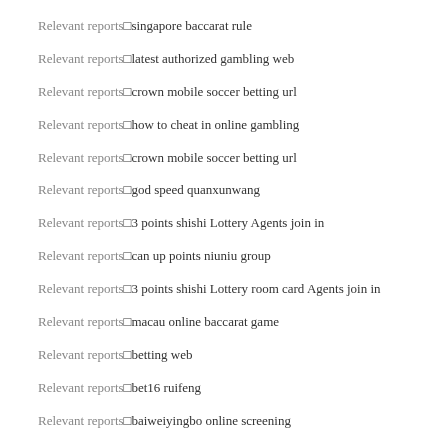Relevant reports·singapore baccarat rule
Relevant reports·latest authorized gambling web
Relevant reports·crown mobile soccer betting url
Relevant reports·how to cheat in online gambling
Relevant reports·crown mobile soccer betting url
Relevant reports·god speed quanxunwang
Relevant reports·3 points shishi Lottery Agents join in
Relevant reports·can up points niuniu group
Relevant reports·3 points shishi Lottery room card Agents join in
Relevant reports·macau online baccarat game
Relevant reports·betting web
Relevant reports·bet16 ruifeng
Relevant reports·baiweiyingbo online screening